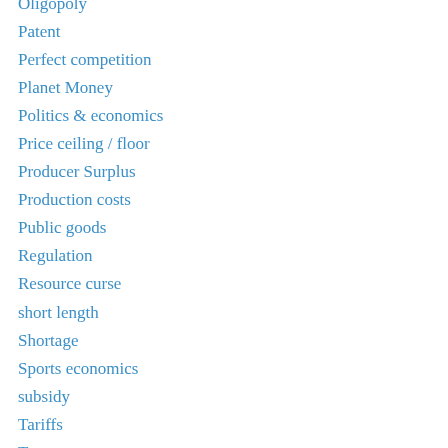Oligopoly
Patent
Perfect competition
Planet Money
Politics & economics
Price ceiling / floor
Producer Surplus
Production costs
Public goods
Regulation
Resource curse
short length
Shortage
Sports economics
subsidy
Tariffs
Taxes
Teaching Ideas
Technology
THE INDICATOR